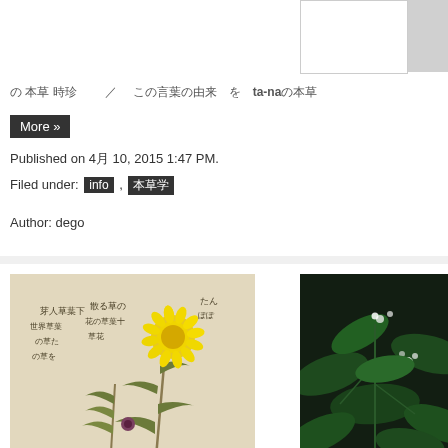[Figure (photo): White/gray placeholder image box on left and gray box on right at top]
の 本草 時珍 ／ この言葉の由来 を　ta-naの本草
More »
Published on 4月 10, 2015 1:47 PM.
Filed under: info , 本草学
Author: dego
[Figure (photo): Japanese botanical illustration painting on aged paper background showing dandelion plant with yellow flower and handwritten Japanese script text]
[Figure (photo): Dark background photo of green plant leaves with small white flowers]